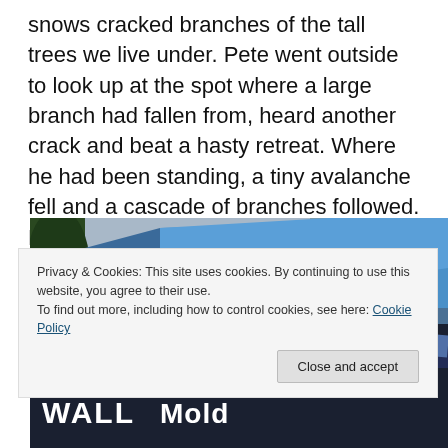snows cracked branches of the tall trees we live under. Pete went outside to look up at the spot where a large branch had fallen from, heard another crack and beat a hasty retreat. Where he had been standing, a tiny avalanche fell and a cascade of branches followed. Fortunately, I was on the phone with the police at the time so no one was surprised when I babbled about what was dangling from the electrical lines and blocking the street.
[Figure (photo): Outdoor scene showing blue tarps, wooden furniture or pallets, and tents or camp materials on a street, with a building visible in the background. Bottom portion shows text reading 'WALL Mold' on a dark background.]
Privacy & Cookies: This site uses cookies. By continuing to use this website, you agree to their use.
To find out more, including how to control cookies, see here: Cookie Policy